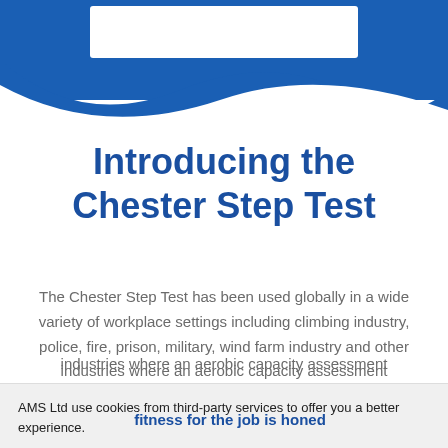[Figure (illustration): Blue wave header background with a white rectangular banner/logo area at the top center]
Introducing the Chester Step Test
The Chester Step Test has been used globally in a wide variety of workplace settings including climbing industry, police, fire, prison, military, wind farm industry and other industries where an aerobic capacity assessment
fitness for the job is honed
AMS Ltd use cookies from third-party services to offer you a better experience.